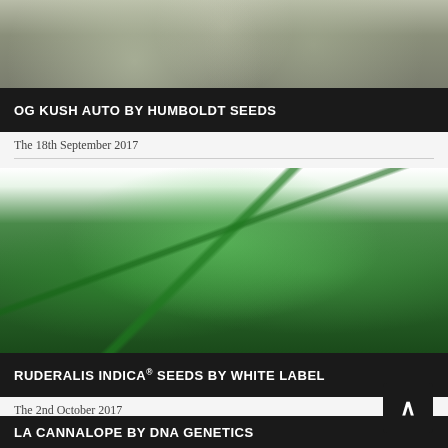[Figure (photo): Close-up macro photo of OG Kush cannabis bud with trichomes, grey-green tones]
OG KUSH AUTO BY HUMBOLDT SEEDS
The 18th September 2017
[Figure (photo): Close-up macro photo of Ruderalis Indica cannabis plant with vivid green leaves and buds against white background]
RUDERALIS INDICA® SEEDS BY WHITE LABEL
The 2nd October 2017
[Figure (photo): Close-up macro photo of LA Cannalope cannabis bud with trichomes against dark/black background]
LA CANNALOPE BY DNA GENETICS